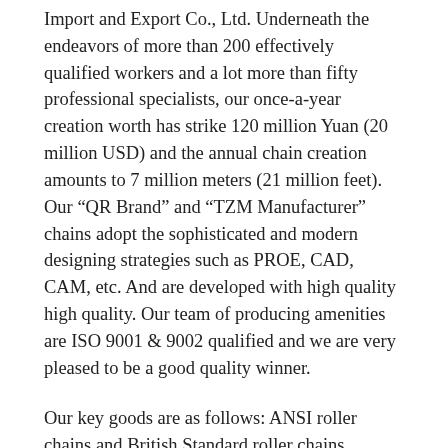Import and Export Co., Ltd. Underneath the endeavors of more than 200 effectively qualified workers and a lot more than fifty professional specialists, our once-a-year creation worth has strike 120 million Yuan (20 million USD) and the annual chain creation amounts to 7 million meters (21 million feet). Our “QR Brand” and “TZM Manufacturer” chains adopt the sophisticated and modern designing strategies such as PROE, CAD, CAM, etc. And are developed with high quality high quality. Our team of producing amenities are ISO 9001 & 9002 qualified and we are very pleased to be a good quality winner.
Our key goods are as follows: ANSI roller chains and British Standard roller chains, attachments chains, bushing chains, double pitch conveyor chains and driving chains, motorcycle chains, engine system chains, silent chains, leaf chains, metal agricultural chains, stainless chain, hollow pin chains, sharp top